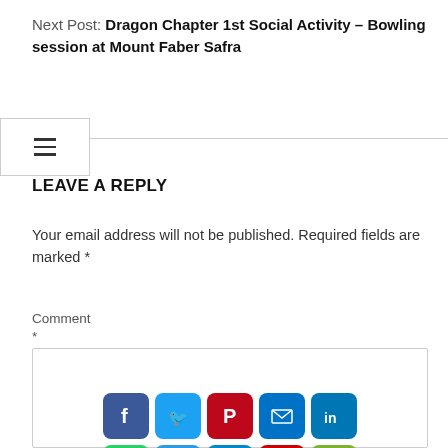Next Post: Dragon Chapter 1st Social Activity – Bowling session at Mount Faber Safra
[Figure (other): Hamburger menu icon button with three horizontal lines, inside a bordered box, with a horizontal rule extending to the right]
LEAVE A REPLY
Your email address will not be published. Required fields are marked *
Comment
*
[Figure (infographic): Social media sharing icons grid: Facebook, Twitter, Pinterest, Email, LinkedIn (row 1); WhatsApp, Copy link, Telegram, Flipboard, WeChat (row 2); Gmail, More (row 3). All displayed as colored rounded-square icon buttons inside a comment input box area.]